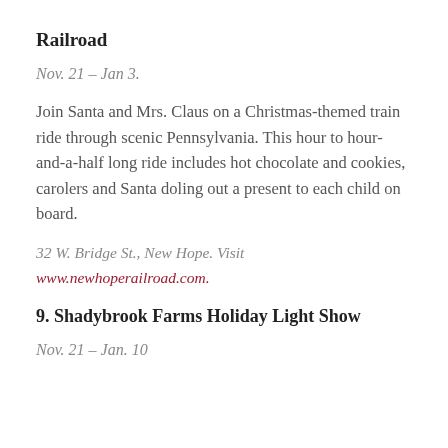Railroad
Nov. 21 – Jan 3.
Join Santa and Mrs. Claus on a Christmas-themed train ride through scenic Pennsylvania. This hour to hour-and-a-half long ride includes hot chocolate and cookies, carolers and Santa doling out a present to each child on board.
32 W. Bridge St., New Hope. Visit www.newhoperailroad.com.
9. Shadybrook Farms Holiday Light Show
Nov. 21 – Jan. 10